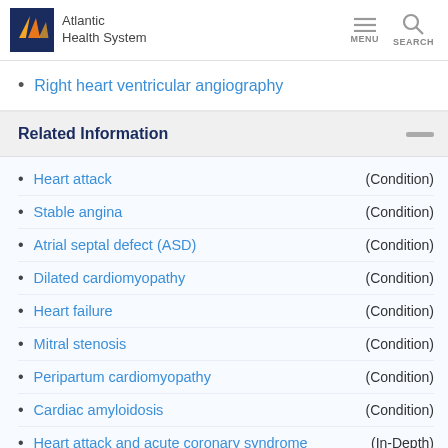Atlantic Health System
Right heart ventricular angiography
Related Information
Heart attack (Condition)
Stable angina (Condition)
Atrial septal defect (ASD) (Condition)
Dilated cardiomyopathy (Condition)
Heart failure (Condition)
Mitral stenosis (Condition)
Peripartum cardiomyopathy (Condition)
Cardiac amyloidosis (Condition)
Heart attack and acute coronary syndrome (In-Depth)